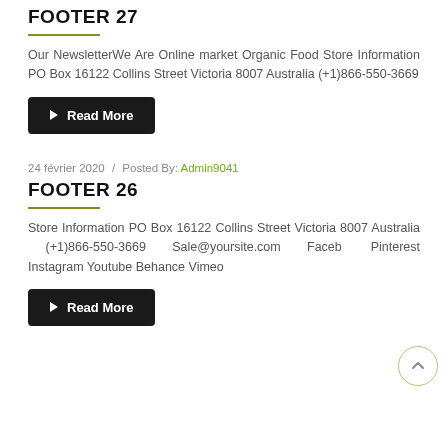FOOTER 27
Our NewsletterWe Are Online market Organic Food Store Information PO Box 16122 Collins Street Victoria 8007 Australia (+1)866-550-3669
▶ Read More
24 février 2020  /  Posted By: Admin9041
FOOTER 26
Store Information PO Box 16122 Collins Street Victoria 8007 Australia  (+1)866-550-3669  Sale@yoursite.com  Facebook Pinterest Instagram Youtube Behance Vimeo
▶ Read More